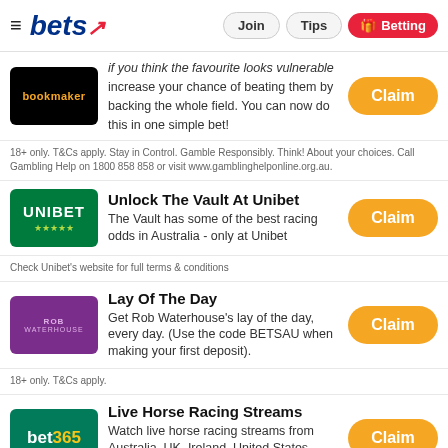bets — Join | Tips | Betting
if you think the favourite looks vulnerable increase your chance of beating them by backing the whole field. You can now do this in one simple bet!
18+ only. T&Cs apply. Stay in Control. Gamble Responsibly. Think! About your choices. Call Gambling Help on 1800 858 858 or visit www.gamblinghelponline.org.au.
Unlock The Vault At Unibet
The Vault has some of the best racing odds in Australia - only at Unibet
Check Unibet's website for full terms & conditions
Lay Of The Day
Get Rob Waterhouse's lay of the day, every day. (Use the code BETSAU when making your first deposit).
18+ only. T&Cs apply.
Live Horse Racing Streams
Watch live horse racing streams from Australia, UK, Ireland, United States, South Africa and more.
18+ only. T&Cs apply. Stay in Control. Gamble Responsibly. Think! About your choices. Call Gambling Help on 1800 858 858 or visit www.gamblinghelponline.org.au.
Betfair SB Beat The Best Tote